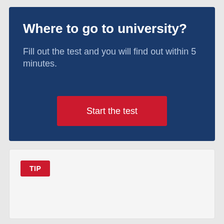Where to go to university?
Fill out the test and you will find out within 5 minutes.
Start the test
TIP